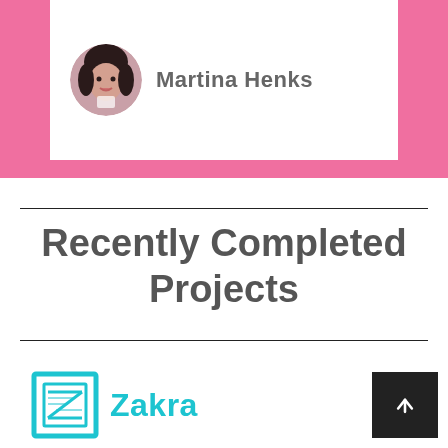[Figure (photo): Circular profile photo of a woman with dark hair, appears to be holding a cup, on a pink background with a white card]
Martina Henks
Recently Completed Projects
[Figure (logo): Zakra logo with teal/cyan square bracket Z icon and the word Zakra in teal text]
[Figure (other): Dark square back-to-top button with upward arrow icon]